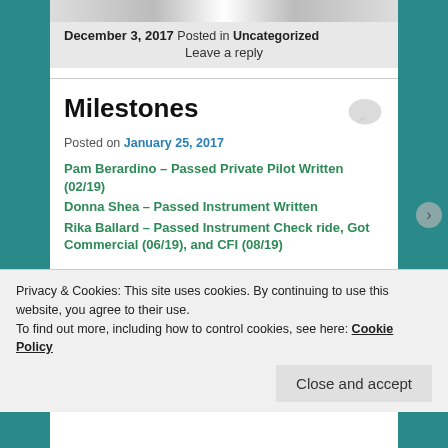[Figure (photo): Partial view of a Berkshire Record newspaper banner/header image]
December 3, 2017 Posted in Uncategorized
Leave a reply
Milestones
Posted on January 25, 2017
Pam Berardino – Passed Private Pilot Written (02/19)
Donna Shea – Passed Instrument Written
Rika Ballard – Passed Instrument Check ride, Got Commercial (06/19), and CFI (08/19)
Privacy & Cookies: This site uses cookies. By continuing to use this website, you agree to their use.
To find out more, including how to control cookies, see here: Cookie Policy
Close and accept